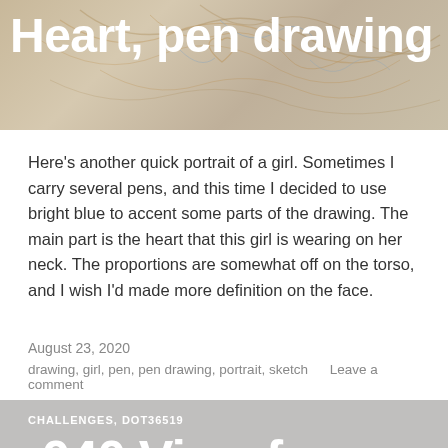[Figure (illustration): Pen drawing artwork showing a girl with a heart pendant on her neck, done in brown/orange pen strokes on a beige background with blue accent lines]
Heart, pen drawing
Here's another quick portrait of a girl. Sometimes I carry several pens, and this time I decided to use bright blue to accent some parts of the drawing. The main part is the heart that this girl is wearing on her neck. The proportions are somewhat off on the torso, and I wish I'd made more definition on the face.
August 23, 2020
drawing, girl, pen, pen drawing, portrait, sketch     Leave a comment
CHALLENGES, DOT36519
.040 View from Hill...